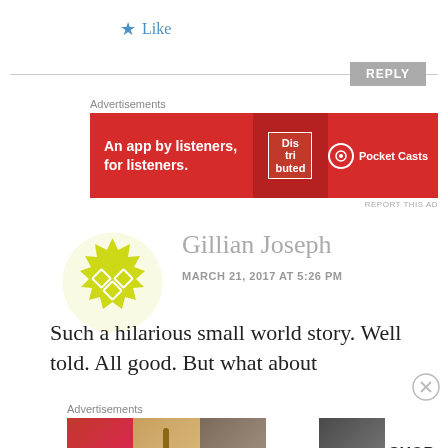★ Like
REPLY
Advertisements
[Figure (illustration): Red advertisement banner for Pocket Casts: 'An app by listeners, for listeners.' with phone graphic and Pocket Casts logo]
REPORT THIS AD
[Figure (illustration): Yellow geometric avatar icon for user Gillian Joseph]
Gillian Joseph
MARCH 21, 2017 AT 5:26 PM
Such a hilarious small world story. Well told. All good. But what about
Advertisements
[Figure (illustration): ULTA Beauty advertisement banner with makeup photos and 'SHOP NOW' call to action]